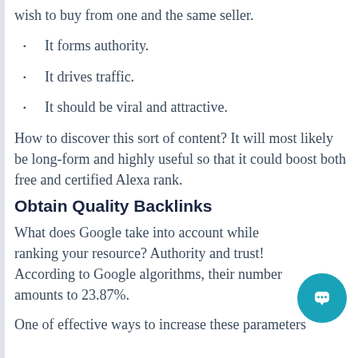wish to buy from one and the same seller.
It forms authority.
It drives traffic.
It should be viral and attractive.
How to discover this sort of content? It will most likely be long-form and highly useful so that it could boost both free and certified Alexa rank.
Obtain Quality Backlinks
What does Google take into account while ranking your resource? Authority and trust! According to Google algorithms, their number amounts to 23.87%.
One of effective ways to increase these parameters